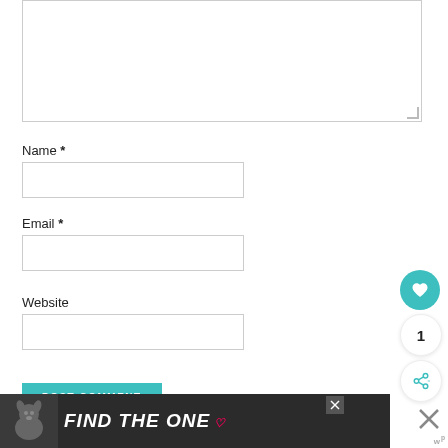[Figure (screenshot): Comment form textarea (empty text input box) at top of page]
Name *
[Figure (screenshot): Name input field (empty text box)]
Email *
[Figure (screenshot): Email input field (empty text box)]
Website
[Figure (screenshot): Website input field (empty text box)]
[Figure (screenshot): POST COMMENT button (teal/green)]
[Figure (screenshot): Social sidebar with heart icon circle, count '1', and share icon]
[Figure (screenshot): Advertisement banner: dog image with text FIND THE ONE with close button]